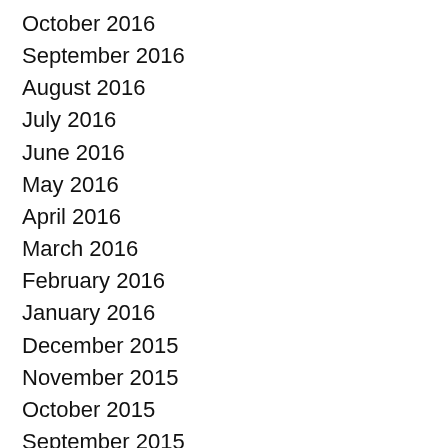October 2016
September 2016
August 2016
July 2016
June 2016
May 2016
April 2016
March 2016
February 2016
January 2016
December 2015
November 2015
October 2015
September 2015
August 2015
July 2015
June 2015
May 2015